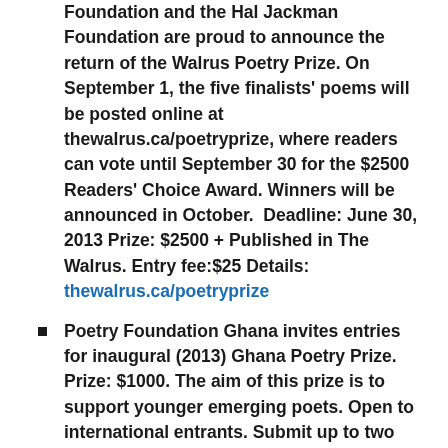Foundation and the Hal Jackman Foundation are proud to announce the return of the Walrus Poetry Prize. On September 1, the five finalists' poems will be posted online at thewalrus.ca/poetryprize, where readers can vote until September 30 for the $2500 Readers' Choice Award. Winners will be announced in October.  Deadline: June 30, 2013 Prize: $2500 + Published in The Walrus. Entry fee:$25 Details: thewalrus.ca/poetryprize
Poetry Foundation Ghana invites entries for inaugural (2013) Ghana Poetry Prize. Prize: $1000. The aim of this prize is to support younger emerging poets. Open to international entrants. Submit up to two poems, 30 lines max. No entry fee. Deadline: June 30, 2013. Shortlist announced in July. Winner announced in September.  :